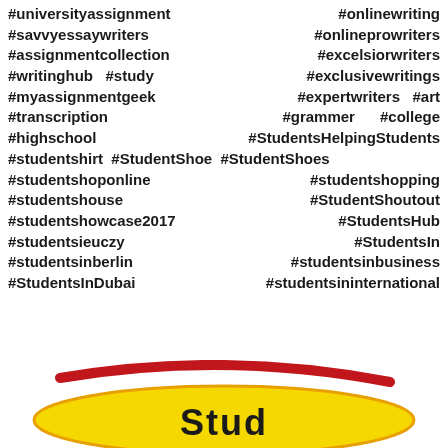#universityassignment #onlinewriting
#savvyessaywriters #onlineprowriters
#assignmentcollection #excelsiorwriters
#writinghub #study #exclusivewritings
#myassignmentgeek #expertwriters #art
#transcription #grammer #college
#highschool #StudentsHelpingStudents
#studentshirt #StudentShoe #StudentShoes
#studentshoponline #studentshopping
#studentshouse #StudentShoutout
#studentshowcase2017 #StudentsHub
#studentsieuczy #StudentsIn
#studentsinberlin #studentsinbusiness
#StudentsInDubai #studentsininternational
[Figure (logo): StudyNow or similar brand logo with yellow oval pill shape, red swoosh arc, and bold text partially visible at bottom of page]